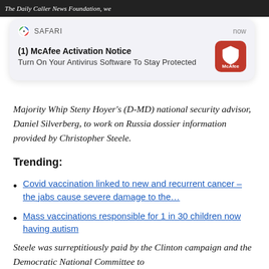The Daily Caller News Foundation, we
[Figure (screenshot): Safari browser push notification card showing McAfee Activation Notice: '(1) McAfee Activation Notice - Turn On Your Antivirus Software To Stay Protected', with McAfee red icon on right, labeled 'SAFARI' and 'now' timestamp]
Majority Whip Steny Hoyer's (D-MD) national security advisor, Daniel Silverberg, to work on Russia dossier information provided by Christopher Steele.
Trending:
Covid vaccination linked to new and recurrent cancer – the jabs cause severe damage to the…
Mass vaccinations responsible for 1 in 30 children now having autism
Steele was surreptitiously paid by the Clinton campaign and the Democratic National Committee to